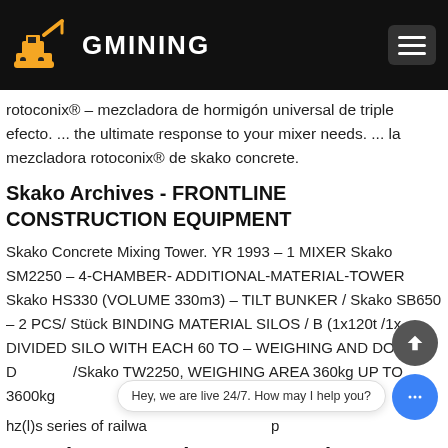GMINING
rotoconix® - mezcladora de hormigón universal de triple efecto. ... the ultimate response to your mixer needs. ... la mezcladora rotoconix® de skako concrete.
Skako Archives - FRONTLINE CONSTRUCTION EQUIPMENT
Skako Concrete Mixing Tower. YR 1993 – 1 MIXER Skako SM2250 – 4-CHAMBER- ADDITIONAL-MATERIAL-TOWER Skako HS330 (VOLUME 330m3) – TILT BUNKER / Skako SB650 – 2 PCS/ Stück BINDING MATERIAL SILOS / B (1x120t /1x DIVIDED SILO WITH EACH 60 TO – WEIGHING AND DOSING D /Skako TW2250, WEIGHING AREA 360kg UP TO 3600kg
hz(l)s series of railway… p
youtube automatic concrete mixer